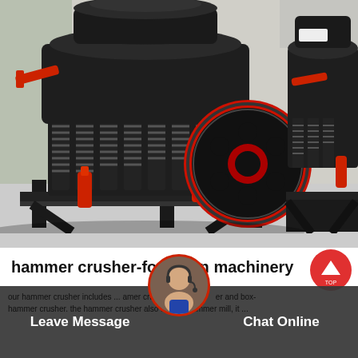[Figure (photo): Industrial cone/hammer crusher machines with red springs and a prominent red-rimmed pulley wheel, photographed in a warehouse/factory setting. Two large black crushing machines visible, with red hydraulic cylinders and coil springs.]
hammer crusher-fodamon machinery
our hammer crusher includes ... amer crusher and box-hammer crusher. the hammer crusher also named hammer mill, it ...